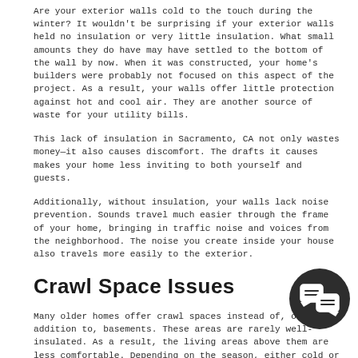Are your exterior walls cold to the touch during the winter? It wouldn't be surprising if your exterior walls held no insulation or very little insulation. What small amounts they do have may have settled to the bottom of the wall by now. When it was constructed, your home's builders were probably not focused on this aspect of the project. As a result, your walls offer little protection against hot and cool air. They are another source of waste for your utility bills.
This lack of insulation in Sacramento, CA not only wastes money—it also causes discomfort. The drafts it causes makes your home less inviting to both yourself and guests.
Additionally, without insulation, your walls lack noise prevention. Sounds travel much easier through the frame of your home, bringing in traffic noise and voices from the neighborhood. The noise you create inside your house also travels more easily to the exterior.
Crawl Space Issues
Many older homes offer crawl spaces instead of, or in addition to, basements. These areas are rarely well-insulated. As a result, the living areas above them are less comfortable. Depending on the season, either cold or hot air accumulates in this space and affects the floor above it. You must work extra hard to properly cool or heat your home due to your uninsulated crawl space.
As with attics, crawl spaces that are poorly insulated can also welcome p... mouse only needs a hole the size of a dime to enter your home. Filling in... potential entrances with proper insulation can help keep these pests out.
Poor insulation can also create damp crawl spaces. As moisture seeps in, mold and mildew are likely to grow. This can cause a host of potential health problems for